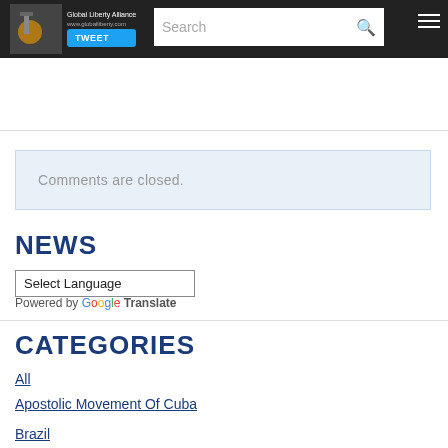Tweet | Search
Comments are closed.
NEWS
Select Language
Powered by Google Translate
CATEGORIES
All
Apostolic Movement Of Cuba
Brazil